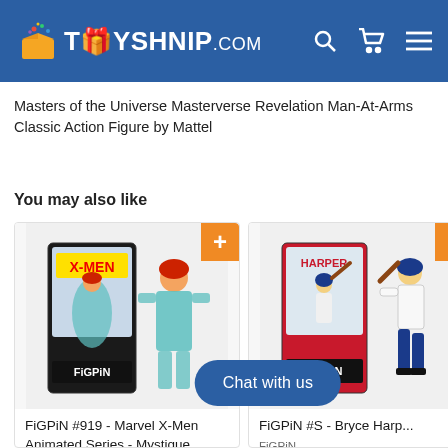TOYSHNIP.COM
Masters of the Universe Masterverse Revelation Man-At-Arms Classic Action Figure by Mattel
You may also like
[Figure (photo): FiGPiN #919 - Marvel X-Men Animated Series - Mystique Enamel Pin product image showing pin in box with Mystique character standee]
FiGPiN #919 - Marvel X-Men Animated Series - Mystique  Enamel Pin
FiGPiN
[Figure (photo): FiGPiN Bryce Harper baseball player product image showing pin in box with player standee]
FiGPiN #S - Bryce Harper...
FiGPiN
$15.00 USD
[Figure (photo): FiGPiN X-Men Animated Series Logan partially visible product image]
FiGPiN ... X-Men An... Logan
FiGPiN
Chat with us